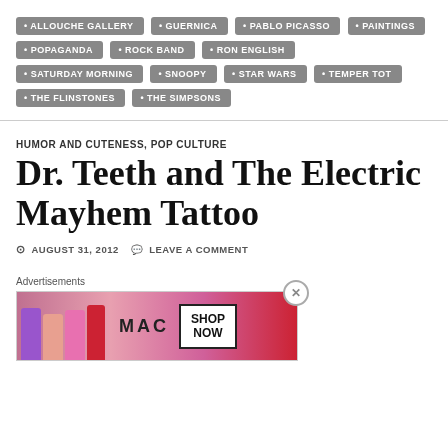ALLOUCHE GALLERY
GUERNICA
PABLO PICASSO
PAINTINGS
POPAGANDA
ROCK BAND
RON ENGLISH
SATURDAY MORNING
SNOOPY
STAR WARS
TEMPER TOT
THE FLINSTONES
THE SIMPSONS
HUMOR AND CUTENESS, POP CULTURE
Dr. Teeth and The Electric Mayhem Tattoo
AUGUST 31, 2012   LEAVE A COMMENT
Advertisements
[Figure (photo): MAC cosmetics advertisement showing lipsticks and SHOP NOW button]